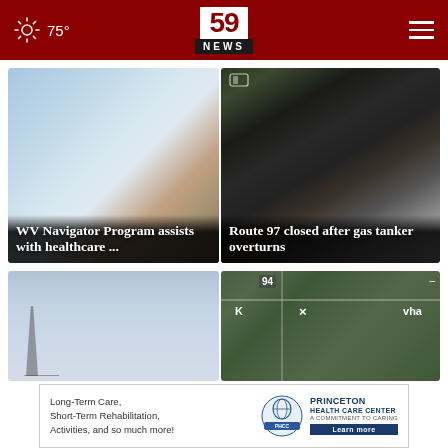75° 59 NEWS
[Figure (photo): Blurred photo of person with clipboard, representing WV Navigator Program healthcare story]
WV Navigator Program assists with healthcare ...
[Figure (photo): Overturned gas tanker truck on road, Route 97 closed story]
Route 97 closed after gas tanker overturns
[Figure (photo): Power line infrastructure, partially visible bottom left card]
[Figure (map): Aerial map view, bottom right card, with labels 94, K, x, vha]
Long-Term Care, Short-Term Rehabilitation, Activities, and so much more!
PRINCETON HEALTH CARE CENTER A COMMITMENT TO CARING Learn more